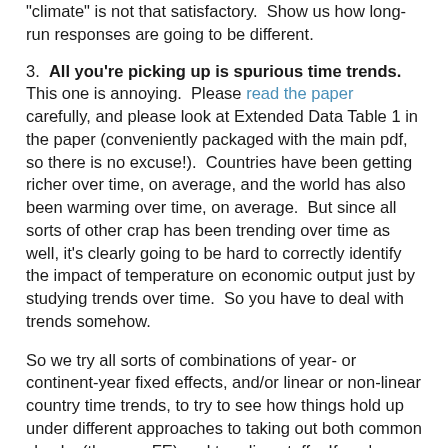"climate" is not that satisfactory.  Show us how long-run responses are going to be different.
3.  All you're picking up is spurious time trends.  This one is annoying.  Please read the paper carefully, and please look at Extended Data Table 1 in the paper (conveniently packaged with the main pdf, so there is no excuse!).  Countries have been getting richer over time, on average, and the world has also been warming over time, on average.  But since all sorts of other crap has been trending over time as well, it's clearly going to be hard to correctly identify the impact of temperature on economic output just by studying trends over time.  So you have to deal with trends somehow.
So we try all sorts of combinations of year- or continent-year fixed effects, and/or linear or non-linear country time trends, to try to see how things hold up under different approaches to taking out both common shocks (the year FE) and trending stuff.   If you're worried about "dynamic effects", we also control in some specifications for multiple lags of the dependent variable.  It doesn't end up mattering too much.